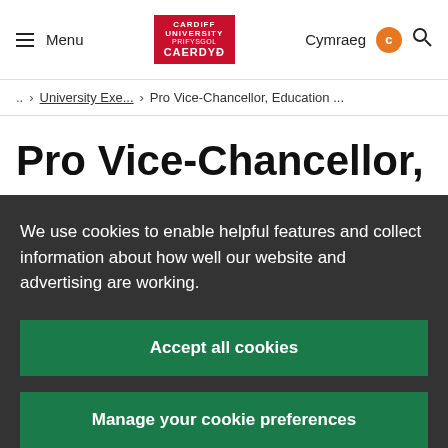Menu | Cardiff University | Cymraeg | Search
.. > University Exe... > Pro Vice-Chancellor, Education ...
Pro Vice-Chancellor,
We use cookies to enable helpful features and collect information about how well our website and advertising are working.
Accept all cookies
Manage your cookie preferences